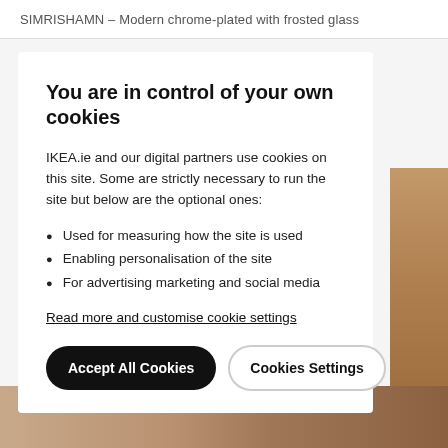SIMRISHAMN – Modern chrome-plated with frosted glass
You are in control of your own cookies
IKEA.ie and our digital partners use cookies on this site. Some are strictly necessary to run the site but below are the optional ones:
Used for measuring how the site is used
Enabling personalisation of the site
For advertising marketing and social media
Read more and customise cookie settings
Accept All Cookies
Cookies Settings
[Figure (photo): Background photo of a room scene, partially visible at bottom and right edge]